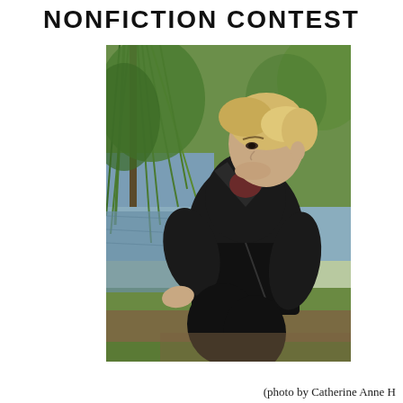NONFICTION CONTEST
[Figure (photo): A woman with short blonde hair wearing a black leather jacket and black pants, sitting on the ground near a pond with weeping willow trees in the background. She is looking to the left.]
(photo by Catherine Anne H